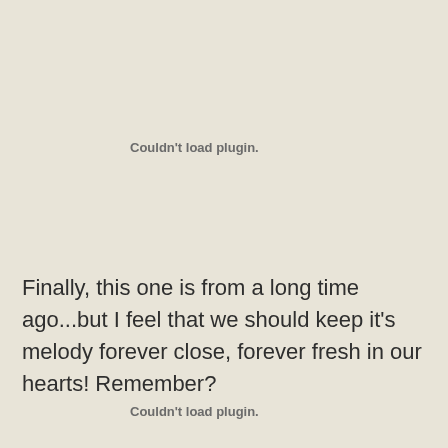Couldn't load plugin.
Finally, this one is from a long time ago...but I feel that we should keep it's melody forever close, forever fresh in our hearts! Remember?
Couldn't load plugin.